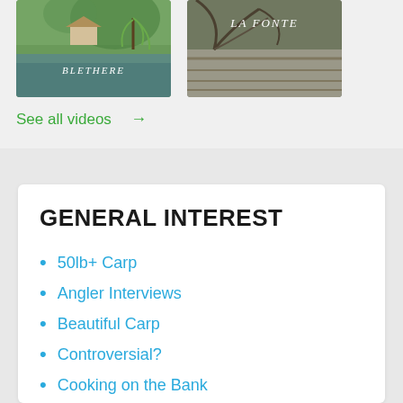[Figure (photo): Two video thumbnail images side by side. Left thumbnail shows a lake scene with a house and willow tree with text 'BLETHERE'. Right thumbnail shows a wooden surface with branches and text 'LA FONTE'.]
See all videos →
GENERAL INTEREST
50lb+ Carp
Angler Interviews
Beautiful Carp
Controversial?
Cooking on the Bank
Disabled Anglers
Driving in France
Family Friendly